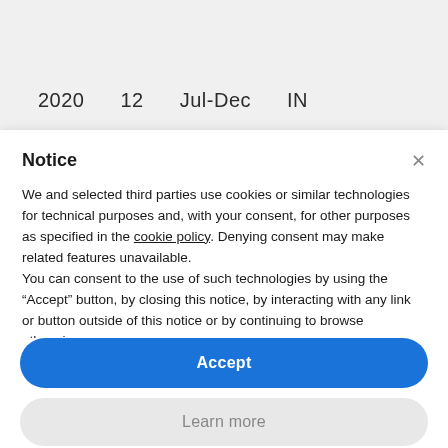2020   12   Jul-Dec   IN
Notice
We and selected third parties use cookies or similar technologies for technical purposes and, with your consent, for other purposes as specified in the cookie policy. Denying consent may make related features unavailable.
You can consent to the use of such technologies by using the “Accept” button, by closing this notice, by interacting with any link or button outside of this notice or by continuing to browse otherwise.
Accept
Learn more